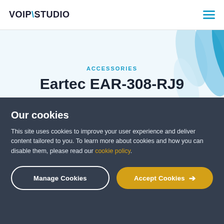VOIP\STUDIO
ACCESSORIES
Eartec EAR-308-RJ9
Our cookies
This site uses cookies to improve your user experience and deliver content tailored to you. To learn more about cookies and how you can disable them, please read our cookie policy.
Manage Cookies
Accept Cookies